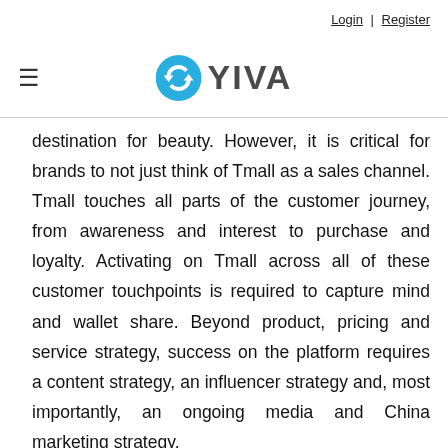Login | Register
[Figure (logo): YIVA logo with blue circular icon and text 'YIVA']
destination for beauty. However, it is critical for brands to not just think of Tmall as a sales channel. Tmall touches all parts of the customer journey, from awareness and interest to purchase and loyalty. Activating on Tmall across all of these customer touchpoints is required to capture mind and wallet share. Beyond product, pricing and service strategy, success on the platform requires a content strategy, an influencer strategy and, most importantly, an ongoing media and China marketing strategy.